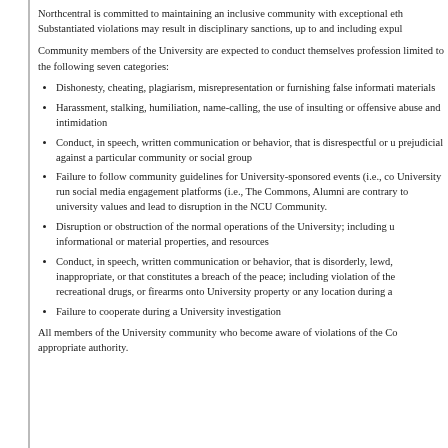Northcentral is committed to maintaining an inclusive community with exceptional eth Substantiated violations may result in disciplinary sanctions, up to and including expul
Community members of the University are expected to conduct themselves profession limited to the following seven categories:
Dishonesty, cheating, plagiarism, misrepresentation or furnishing false informati materials
Harassment, stalking, humiliation, name-calling, the use of insulting or offensive abuse and intimidation
Conduct, in speech, written communication or behavior, that is disrespectful or u prejudicial against a particular community or social group
Failure to follow community guidelines for University-sponsored events (i.e., co University run social media engagement platforms (i.e., The Commons, Alumni are contrary to university values and lead to disruption in the NCU Community.
Disruption or obstruction of the normal operations of the University; including u informational or material properties, and resources
Conduct, in speech, written communication or behavior, that is disorderly, lewd, inappropriate, or that constitutes a breach of the peace; including violation of the recreational drugs, or firearms onto University property or any location during a
Failure to cooperate during a University investigation
All members of the University community who become aware of violations of the Co appropriate authority.